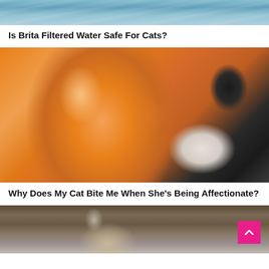[Figure (photo): Top portion of a photo showing water ripples with blue-grey tones]
Is Brita Filtered Water Safe For Cats?
[Figure (photo): Close-up photo of an orange/ginger kitten being held, looking at the camera with blue eyes]
Why Does My Cat Bite Me When She's Being Affectionate?
[Figure (photo): Partial photo of a tabby cat, cropped at the bottom of the page]